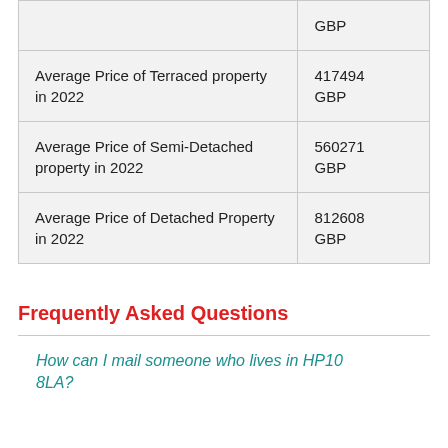| Property Type | Price |
| --- | --- |
|  | GBP |
| Average Price of Terraced property in 2022 | 417494 GBP |
| Average Price of Semi-Detached property in 2022 | 560271 GBP |
| Average Price of Detached Property in 2022 | 812608 GBP |
Frequently Asked Questions
How can I mail someone who lives in HP10 8LA?